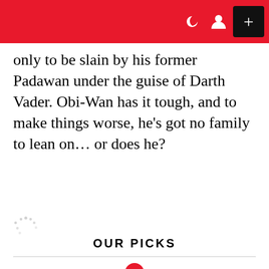only to be slain by his former Padawan under the guise of Darth Vader. Obi-Wan has it tough, and to make things worse, he's got no family to lean on… or does he?
OUR PICKS
1 Sexy Hot Yoga & Fitness Girls. You're Welcome
2 25 Breathtaking Views Of The Himalayas, You Will Want To Forget ASAP
3